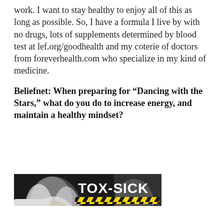work. I want to stay healthy to enjoy all of this as long as possible. So, I have a formula I live by with no drugs, lots of supplements determined by blood test at lef.org/goodhealth and my coterie of doctors from foreverhealth.com who specialize in my kind of medicine.
Beliefnet: When preparing for “Dancing with the Stars,” what do you do to increase energy, and maintain a healthy mindset?
[Figure (photo): Book cover of 'Tox-Sick: From Toxic to Not Sick' with a woman with blonde hair on the left side and book title and subtitle text on the right, black background with yellow hazard stripes]
Suzanne: I did